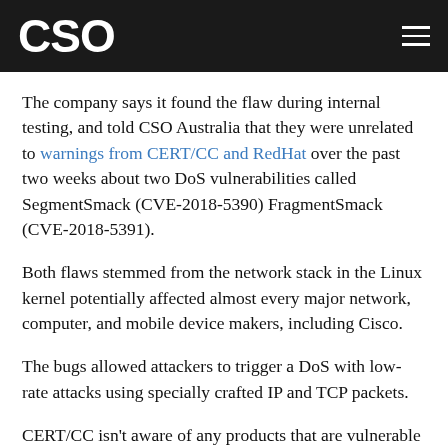CSO
The company says it found the flaw during internal testing, and told CSO Australia that they were unrelated to warnings from CERT/CC and RedHat over the past two weeks about two DoS vulnerabilities called SegmentSmack (CVE-2018-5390) FragmentSmack (CVE-2018-5391).
Both flaws stemmed from the network stack in the Linux kernel potentially affected almost every major network, computer, and mobile device makers, including Cisco.
The bugs allowed attackers to trigger a DoS with low-rate attacks using specially crafted IP and TCP packets.
CERT/CC isn't aware of any products that are vulnerable to FragmentSmack,however, since it flagged SegmentSmack on